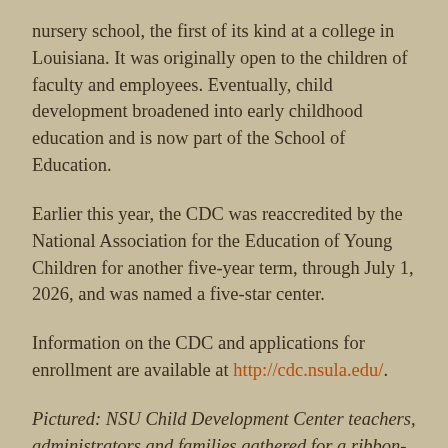nursery school, the first of its kind at a college in Louisiana. It was originally open to the children of faculty and employees. Eventually, child development broadened into early childhood education and is now part of the School of Education.
Earlier this year, the CDC was reaccredited by the National Association for the Education of Young Children for another five-year term, through July 1, 2026, and was named a five-star center.
Information on the CDC and applications for enrollment are available at http://cdc.nsula.edu/.
Pictured: NSU Child Development Center teachers, administrators and families gathered for a ribbon-cutting to open the preschool's new trike track. Joining students were